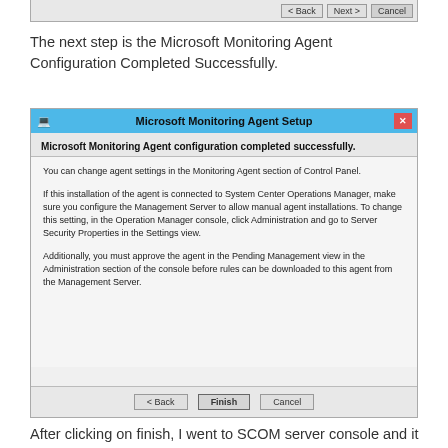[Figure (screenshot): Top portion of a Windows setup dialog showing Back, Next, and Cancel buttons]
The next step is the Microsoft Monitoring Agent Configuration Completed Successfully.
[Figure (screenshot): Microsoft Monitoring Agent Setup dialog showing configuration completed successfully message with Back, Finish, and Cancel buttons]
After clicking on finish, I went to SCOM server console and it was showing the Azure VM where I have installed the SCOM